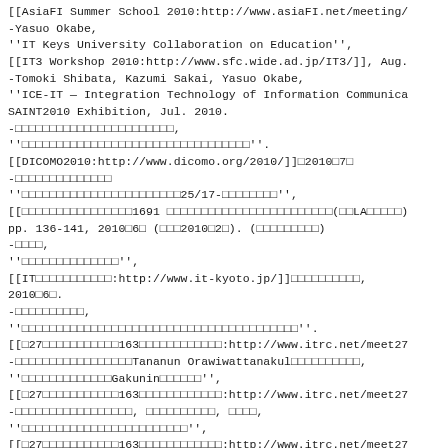[[AsiaFI Summer School 2010:http://www.asiaFI.net/meeting/...
-Yasuo Okabe,
''IT Keys University Collaboration on Education'',
[[IT3 Workshop 2010:http://www.sfc.wide.ad.jp/IT3/]], Aug.
-Tomoki Shibata, Kazumi Sakai, Yasuo Okabe,
''ICE-IT - Integration Technology of Information Communica...
SAINT2010 Exhibition, Jul. 2010.
-□□□□□□□□□□□□□□□□□□□□□□,
''□□□□□□□□□□□□□□□□□□□□□□□□□□□□□□□□□''.
[[DICOMO2010:http://www.dicomo.org/2010/]]□2010□7□
-□□□□□□□□□□□□□□
''□□□□□□□□□□□□□□□□□□□□□□25/17-□□□□□□□□□□'',
[[□□□□□□□□□□□□□□□□1691 □□□□□□□□□□□□□□□□□□□□□□□□□(□□LA□□□□□□)
pp. 136-141, 2010□6□ (□□□2010□2□). (□□□□□□□□□)
-□□□□,
''□□□□□□□□□□□□□□'',
[[IT□□□□□□□□□□□:http://www.it-kyoto.jp/]]□□□□□□□□□□,
2010□6□.
-□□□□□□□□□□,
''□□□□□□□□□□□□□□□□□□□□□□□□□□□□□□□□□□□□□□□□''.
[[□27□□□□□□□□□□□□163□□□□□□□□□□□□□□:http://www.itrc.net/meet27...
-□□□□□□□□□□□□□□□□□Tananun Orawiwattanakul□□□□□□□□□□,
''□□□□□□□□□□□□□Gakunin□□□□□□'',
[[□27□□□□□□□□□□□□163□□□□□□□□□□□□□□:http://www.itrc.net/meet27...
-□□□□□□□□□□□□□□□□□, □□□□□□□□□□, □□□□,
''□□□□□□□□□□□□□□□□□□□□□□□□'',
[[□27□□□□□□□□□□□□163□□□□□□□□□□□□□□:http://www.itrc.net/meet27...